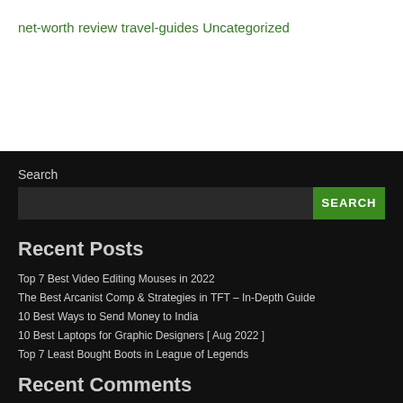net-worth
review
travel-guides
Uncategorized
Search
Recent Posts
Top 7 Best Video Editing Mouses in 2022
The Best Arcanist Comp & Strategies in TFT – In-Depth Guide
10 Best Ways to Send Money to India
10 Best Laptops for Graphic Designers [ Aug 2022 ]
Top 7 Least Bought Boots in League of Legends
Recent Comments